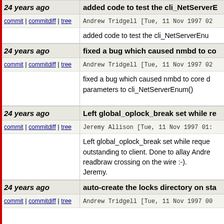24 years ago | added code to test the cli_NetServerE...
commit | commitdiff | tree   Andrew Tridgell [Tue, 11 Nov 1997 02...
added code to test the cli_NetServerEnu...
24 years ago | fixed a bug which caused nmbd to co...
commit | commitdiff | tree   Andrew Tridgell [Tue, 11 Nov 1997 02...
fixed a bug which caused nmbd to core d... parameters to cli_NetServerEnum()
24 years ago | Left global_oplock_break set while re...
commit | commitdiff | tree   Jeremy Allison [Tue, 11 Nov 1997 01:...
Left global_oplock_break set while reque... outstanding to client. Done to allay Andre... readbraw crossing on the wire :-). Jeremy.
24 years ago | auto-create the locks directory on sta...
commit | commitdiff | tree   Andrew Tridgell [Tue, 11 Nov 1997 00...